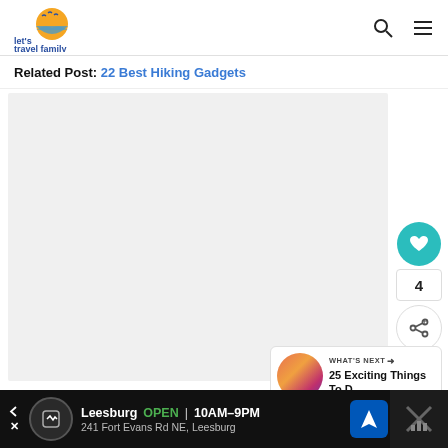[Figure (logo): Let's Travel Family logo - circular sun with birds and landscape]
Related Post: 22 Best Hiking Gadgets
[Figure (photo): Large placeholder image area, light gray]
[Figure (infographic): Heart/like button (teal circle), count '4', share button]
WHAT'S NEXT → 25 Exciting Things To D...
[Figure (infographic): Advertisement bar: Leesburg OPEN 10AM-9PM, 241 Fort Evans Rd NE, Leesburg]